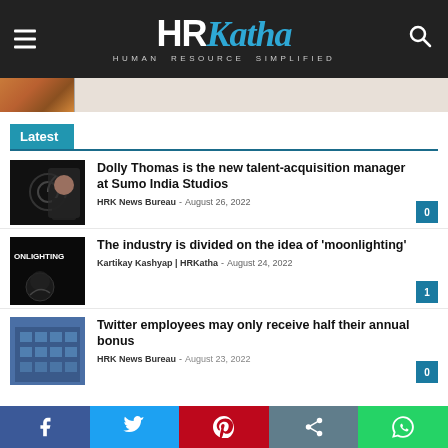HRKatha — HUMAN RESOURCE SIMPLIFIED
[Figure (screenshot): Partial thumbnail image strip at top]
Latest
Dolly Thomas is the new talent-acquisition manager at Sumo India Studios
HRK News Bureau - August 26, 2022
The industry is divided on the idea of 'moonlighting'
Kartikay Kashyap | HRKatha - August 24, 2022
Twitter employees may only receive half their annual bonus
HRK News Bureau - August 23, 2022